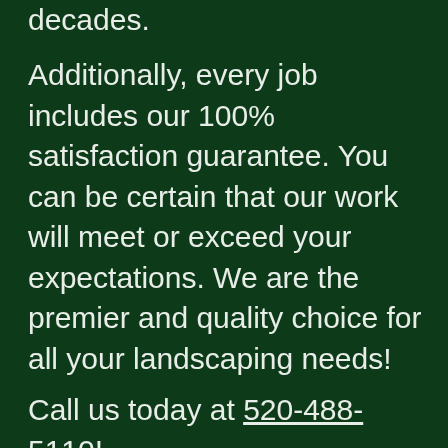decades.
Additionally, every job includes our 100% satisfaction guarantee. You can be certain that our work will meet or exceed your expectations. We are the premier and quality choice for all your landscaping needs!
Call us today at 520-488-5110!